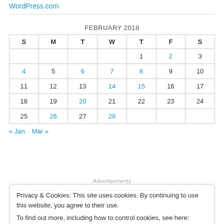WordPress.com
| S | M | T | W | T | F | S |
| --- | --- | --- | --- | --- | --- | --- |
|  |  |  |  | 1 | 2 | 3 |
| 4 | 5 | 6 | 7 | 8 | 9 | 10 |
| 11 | 12 | 13 | 14 | 15 | 16 | 17 |
| 18 | 19 | 20 | 21 | 22 | 23 | 24 |
| 25 | 26 | 27 | 28 |  |  |  |
« Jan   Mar »
Advertisements
Privacy & Cookies: This site uses cookies. By continuing to use this website, you agree to their use.
To find out more, including how to control cookies, see here: Cookie Policy